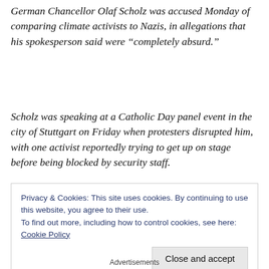German Chancellor Olaf Scholz was accused Monday of comparing climate activists to Nazis, in allegations that his spokesperson said were “completely absurd.”
Scholz was speaking at a Catholic Day panel event in the city of Stuttgart on Friday when protesters disrupted him, with one activist reportedly trying to get up on stage before being blocked by security staff.
Privacy & Cookies: This site uses cookies. By continuing to use this website, you agree to their use.
To find out more, including how to control cookies, see here: Cookie Policy
Close and accept
Advertisements